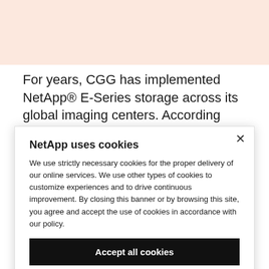[Figure (other): Light salmon/peach colored banner background at the top of the page]
For years, CGG has implemented NetApp® E-Series storage across its global imaging centers. According
NetApp uses cookies
We use strictly necessary cookies for the proper delivery of our online services. We use other types of cookies to customize experiences and to drive continuous improvement. By closing this banner or by browsing this site, you agree and accept the use of cookies in accordance with our policy.
Accept all cookies
Cookie settings